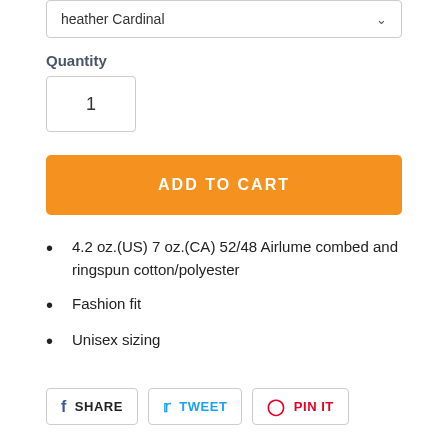heather Cardinal
Quantity
1
ADD TO CART
4.2 oz.(US) 7 oz.(CA) 52/48 Airlume combed and ringspun cotton/polyester
Fashion fit
Unisex sizing
SHARE  TWEET  PIN IT